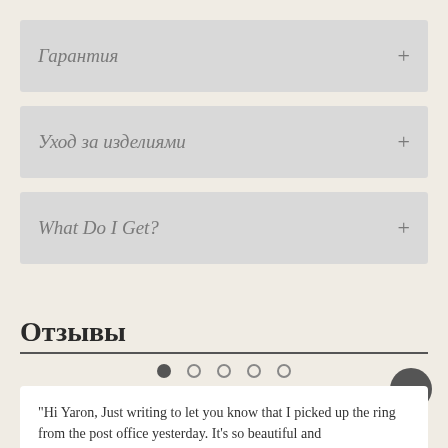Гарантия
Уход за изделиями
What Do I Get?
Отзывы
"Hi Yaron, Just writing to let you know that I picked up the ring from the post office yesterday. It's so beautiful and